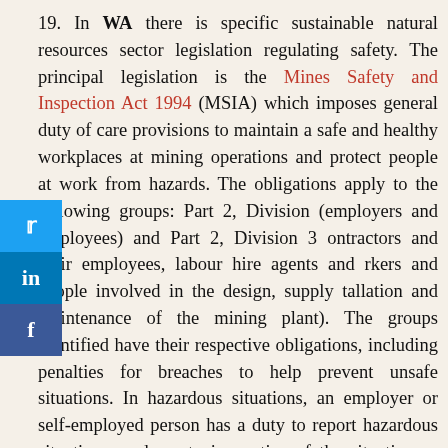19. In WA there is specific sustainable natural resources sector legislation regulating safety. The principal legislation is the Mines Safety and Inspection Act 1994 (MSIA) which imposes general duty of care provisions to maintain a safe and healthy workplaces at mining operations and protect people at work from hazards. The obligations apply to the following groups: Part 2, Division (employers and employees) and Part 2, Division 3 contractors and their employees, labour hire agents and rkers and people involved in the design, supply tallation and maintenance of the mining plant). The groups identified have their respective obligations, including penalties for breaches to help prevent unsafe situations. In hazardous situations, an employer or self-employed person has a duty to report hazardous situations, and must give notice of the situation as soon as reasonably practicable, failure of which is an offence (Section 15F). Other important features of the MSIA